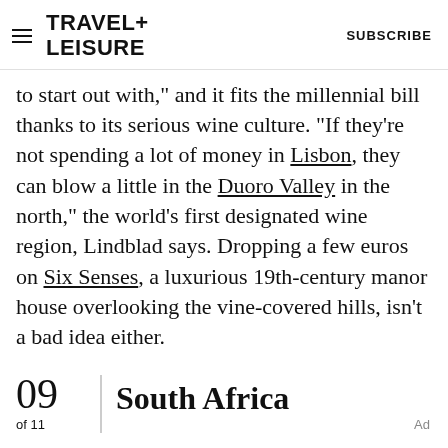TRAVEL+ LEISURE   SUBSCRIBE
to start out with," and it fits the millennial bill thanks to its serious wine culture. "If they're not spending a lot of money in Lisbon, they can blow a little in the Duoro Valley in the north," the world's first designated wine region, Lindblad says. Dropping a few euros on Six Senses, a luxurious 19th-century manor house overlooking the vine-covered hills, isn't a bad idea either.
09   South Africa
of 11
Ad